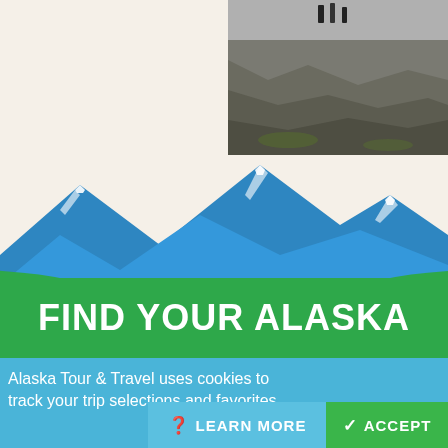[Figure (photo): Outdoor photo showing rocky terrain with people in the background, taken in Alaska landscape.]
[Figure (illustration): Stylized mountain range illustration with blue mountains and green rolling hills at the bottom, white snow accents on peaks.]
FIND YOUR ALASKA
Alaska Tour & Travel uses cookies to track your trip selections and favorites.
LEARN MORE
ACCEPT